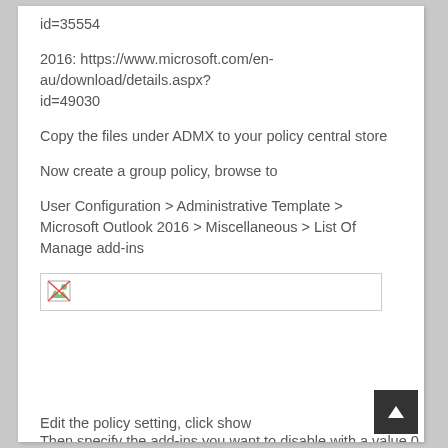id=35554
2016: https://www.microsoft.com/en-au/download/details.aspx?id=49030
Copy the files under ADMX to your policy central store
Now create a group policy, browse to
User Configuration > Administrative Template > Microsoft Outlook 2016 > Miscellaneous > List Of Manage add-ins
[Figure (screenshot): Broken image placeholder with small image icon, outlined box]
Edit the policy setting, click show
Then specify the add-ins you want to disable with a value 0